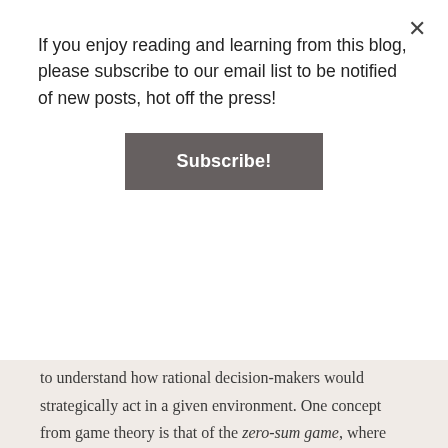If you enjoy reading and learning from this blog, please subscribe to our email list to be notified of new posts, hot off the press!
Subscribe!
to understand how rational decision-makers would strategically act in a given environment. One concept from game theory is that of the zero-sum game, where there is a finite amount of utility shared between players, meaning that if one person gains something, another must lose something to balance it out.
A classic example is a game of competitive sports, where there can be only one winner. For you to win, someone else must lose. A zero-sum game can have as